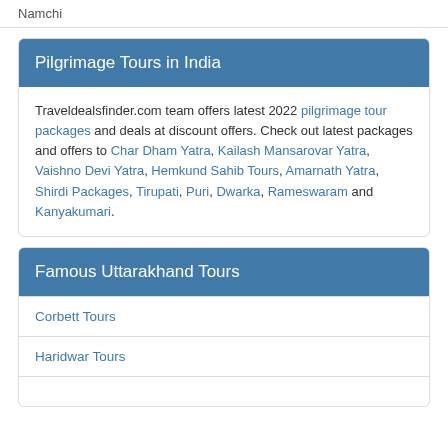Namchi
Pilgrimage Tours in India
Traveldealsfinder.com team offers latest 2022 pilgrimage tour packages and deals at discount offers. Check out latest packages and offers to Char Dham Yatra, Kailash Mansarovar Yatra, Vaishno Devi Yatra, Hemkund Sahib Tours, Amarnath Yatra, Shirdi Packages, Tirupati, Puri, Dwarka, Rameswaram and Kanyakumari.
Famous Uttarakhand Tours
Corbett Tours
Haridwar Tours